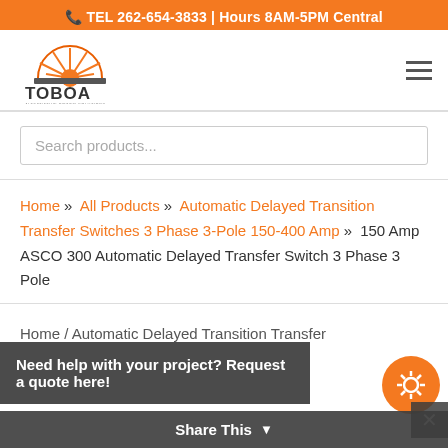TEL 262-654-3833 | Hours 8AM-5PM Central
[Figure (logo): TOBOA logo with orange sunburst and company name]
Search products...
Home » All Products » Automatic Delayed Transition Transfer Switches 3 Phase 3-Pole 150-400 Amp » 150 Amp ASCO 300 Automatic Delayed Transfer Switch 3 Phase 3 Pole
Home / Automatic Delayed Transition Transfer ...AS... 300 Automatic Delayed Transfer Switch 3 Phase 3 Pole
Need help with your project? Request a quote here!
Share This